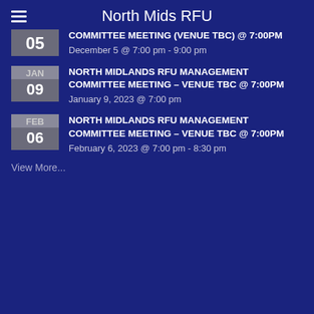North Mids RFU
COMMITTEE MEETING (VENUE TBC) @ 7:00PM — December 5 @ 7:00 pm - 9:00 pm
NORTH MIDLANDS RFU MANAGEMENT COMMITTEE MEETING – VENUE TBC @ 7:00PM — January 9, 2023 @ 7:00 pm
NORTH MIDLANDS RFU MANAGEMENT COMMITTEE MEETING – VENUE TBC @ 7:00PM — February 6, 2023 @ 7:00 pm - 8:30 pm
View More...